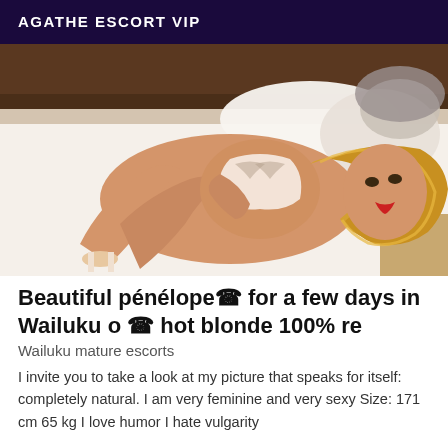AGATHE ESCORT VIP
[Figure (photo): A blonde woman in white lingerie posing on a white bed]
Beautiful pénélope☎ for a few days in Wailuku o ☎ hot blonde 100% re
Wailuku mature escorts
I invite you to take a look at my picture that speaks for itself: completely natural. I am very feminine and very sexy Size: 171 cm 65 kg I love humor I hate vulgarity